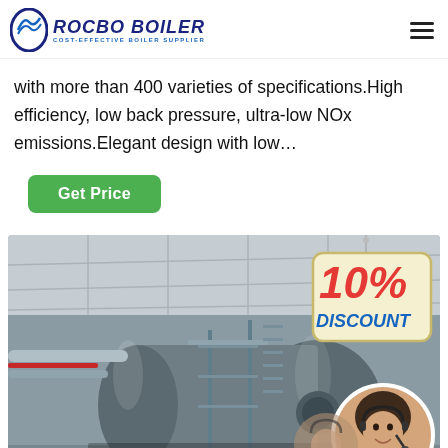ROCBO BOILER — COST-EFFECTIVE BOILER SUPPLIER
with more than 400 varieties of specifications.High efficiency, low back pressure, ultra-low NOx emissions.Elegant design with low…
Get Price
[Figure (photo): Industrial boiler unit in a large warehouse facility with metal scaffolding, pipes, and a 10% DISCOUNT promotional badge overlay. A customer service agent (woman with headset) shown in a circular frame at bottom right.]